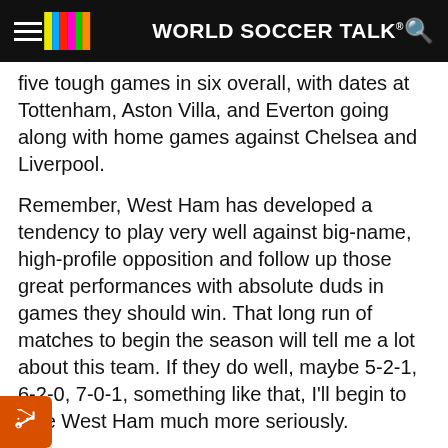WORLD SOCCER TALK
five tough games in six overall, with dates at Tottenham, Aston Villa, and Everton going along with home games against Chelsea and Liverpool.
Remember, West Ham has developed a tendency to play very well against big-name, high-profile opposition and follow up those great performances with absolute duds in games they should win. That long run of matches to begin the season will tell me a lot about this team. If they do well, maybe 5-2-1, 6-2-0, 7-0-1, something like that, I'll begin to take West Ham much more seriously.
Bottom Line: I just said it — West Ham will set the tone for their whole season with the way they start. If they bottle it in those games, any potential